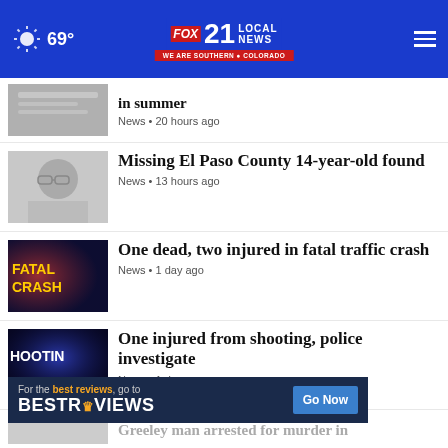69° FOX 21 LOCAL NEWS WE ARE SOUTHERN COLORADO
in summer
News • 20 hours ago
Missing El Paso County 14-year-old found
News • 13 hours ago
One dead, two injured in fatal traffic crash
News • 1 day ago
One injured from shooting, police investigate
News • 1 day ago
Police chase ends in 1 arrest after armed robbery
News • 1 day ago
8-legged 'migration' about to hit Colorado: how you
Greeley man arrested for murder in
For the best reviews, go to BESTREVIEWS  Go Now